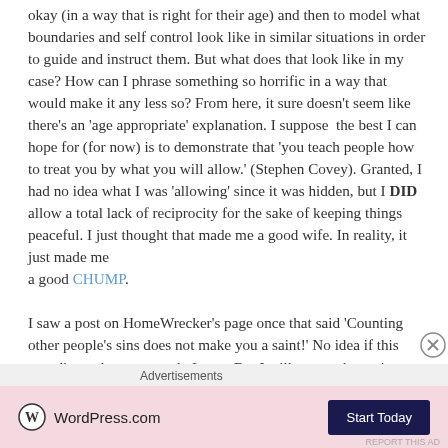okay (in a way that is right for their age) and then to model what boundaries and self control look like in similar situations in order to guide and instruct them. But what does that look like in my case? How can I phrase something so horrific in a way that would make it any less so? From here, it sure doesn't seem like there's an 'age appropriate' explanation. I suppose the best I can hope for (for now) is to demonstrate that 'you teach people how to treat you by what you will allow.' (Stephen Covey). Granted, I had no idea what I was 'allowing' since it was hidden, but I DID allow a total lack of reciprocity for the sake of keeping things peaceful. I just thought that made me a good wife. In reality, it just made me a good CHUMP.
I saw a post on HomeWrecker's page once that said 'Counting other people's sins does not make you a saint!' No idea if this was directed at me, nor do I care. But I will say on the topic that I never once claimed that it did. I'm right there in line fo
Advertisements
[Figure (other): WordPress.com advertisement banner with pink background, WordPress logo and 'Start Today' dark navy button]